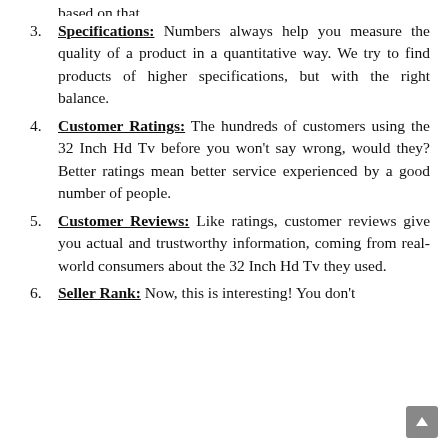3. Specifications: Numbers always help you measure the quality of a product in a quantitative way. We try to find products of higher specifications, but with the right balance.
4. Customer Ratings: The hundreds of customers using the 32 Inch Hd Tv before you won't say wrong, would they? Better ratings mean better service experienced by a good number of people.
5. Customer Reviews: Like ratings, customer reviews give you actual and trustworthy information, coming from real-world consumers about the 32 Inch Hd Tv they used.
6. Seller Rank: Now, this is interesting! You don't